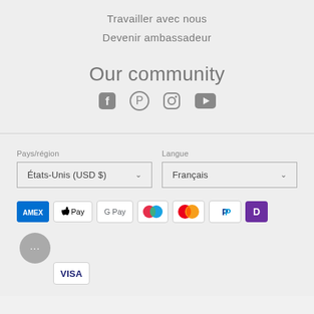Travailler avec nous
Devenir ambassadeur
Our community
[Figure (illustration): Social media icons: Facebook, Pinterest, Instagram, YouTube]
Pays/région
États-Unis (USD $)
Langue
Français
[Figure (illustration): Payment method icons: Amex, Apple Pay, Google Pay, Maestro, Mastercard, PayPal, Diners/D, Visa]